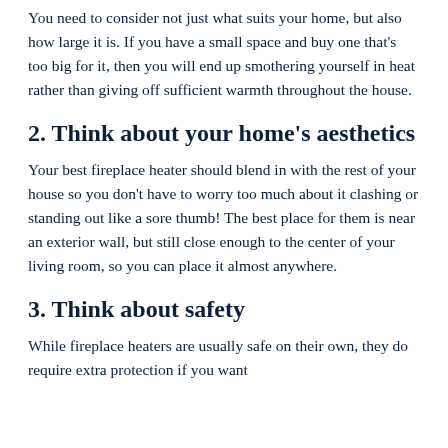You need to consider not just what suits your home, but also how large it is. If you have a small space and buy one that's too big for it, then you will end up smothering yourself in heat rather than giving off sufficient warmth throughout the house.
2. Think about your home's aesthetics
Your best fireplace heater should blend in with the rest of your house so you don't have to worry too much about it clashing or standing out like a sore thumb! The best place for them is near an exterior wall, but still close enough to the center of your living room, so you can place it almost anywhere.
3. Think about safety
While fireplace heaters are usually safe on their own, they do require extra protection if you want